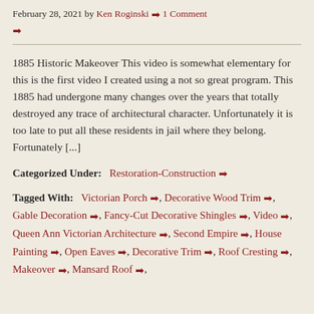February 28, 2021 by Ken Roginski ➔ 1 Comment ➔
1885 Historic Makeover This video is somewhat elementary for this is the first video I created using a not so great program. This 1885 had undergone many changes over the years that totally destroyed any trace of architectural character. Unfortunately it is too late to put all these residents in jail where they belong. Fortunately [...]
Categorized Under: Restoration-Construction ➔
Tagged With: Victorian Porch ➔, Decorative Wood Trim ➔, Gable Decoration ➔, Fancy-Cut Decorative Shingles ➔, Video ➔, Queen Ann Victorian Architecture ➔, Second Empire ➔, House Painting ➔, Open Eaves ➔, Decorative Trim ➔, Roof Cresting ➔, Makeover ➔, Mansard Roof ➔,